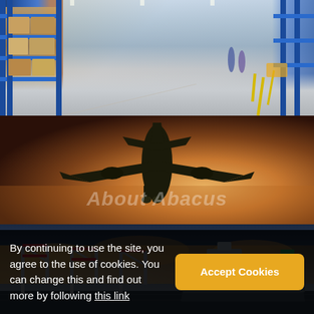[Figure (photo): Interior of a large warehouse with blue metal shelving racks stacked with boxes and pallets, a wide concrete floor with yellow markings, and workers visible in the background.]
[Figure (photo): Silhouette of a commercial airplane viewed from below against a warm orange-brown sunset sky, with landing gear deployed.]
[Figure (photo): Port scene at dusk with cargo cranes on the left and a large cargo ship on the right, against a dramatic sky with orange and blue clouds.]
About Abacus
By continuing to use the site, you agree to the use of cookies. You can change this and find out more by following this link
Accept Cookies